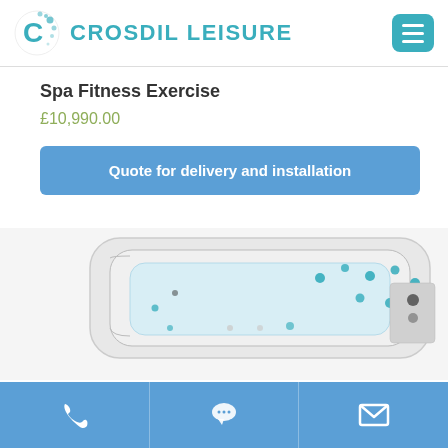CROSDIL LEISURE
Spa Fitness Exercise
£10,990.00
Quote for delivery and installation
[Figure (photo): Aerial/top-down view of a Spa Fitness Exercise hot tub with white shell and teal jets]
Phone | Chat | Email icons